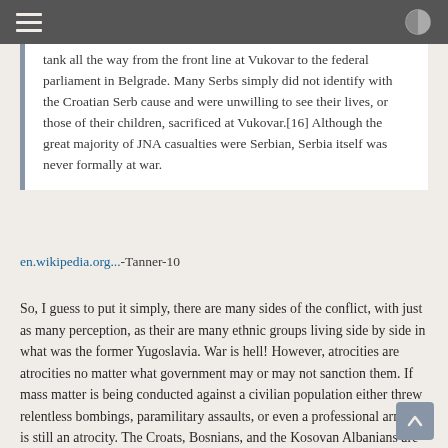tank all the way from the front line at Vukovar to the federal parliament in Belgrade. Many Serbs simply did not identify with the Croatian Serb cause and were unwilling to see their lives, or those of their children, sacrificed at Vukovar.[16] Although the great majority of JNA casualties were Serbian, Serbia itself was never formally at war.
en.wikipedia.org...-Tanner-10
So, I guess to put it simply, there are many sides of the conflict, with just as many perception, as their are many ethnic groups living side by side in what was the former Yugoslavia. War is hell! However, atrocities are atrocities no matter what government may or may not sanction them. If mass matter is being conducted against a civilian population either threw relentless bombings, paramilitary assaults, or even a professional army, it is still an atrocity. The Croats, Bosnians, and the Kosovan Albanians are alll as guilty as the Serbs. So, lets look at the bloody conflict for what it really was. It was not a Civil War, but a race war. It was the